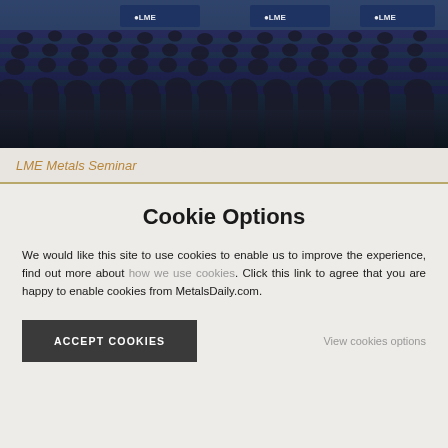[Figure (photo): Conference hall photograph showing a large crowd of attendees seated in rows at the LME Metals Seminar, with LME branded banners visible in the background]
LME Metals Seminar
Cookie Options
We would like this site to use cookies to enable us to improve the experience, find out more about how we use cookies. Click this link to agree that you are happy to enable cookies from MetalsDaily.com.
ACCEPT COOKIES
View cookies options